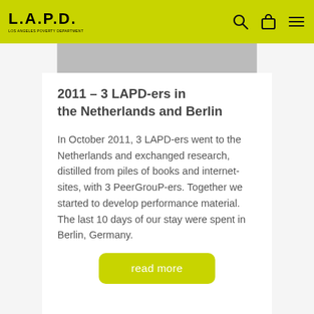LAPD — Los Angeles Poverty Department
2011 – 3 LAPD-ers in the Netherlands and Berlin
In October 2011, 3 LAPD-ers went to the Netherlands and exchanged research, distilled from piles of books and internet-sites, with 3 PeerGrouP-ers. Together we started to develop performance material. The last 10 days of our stay were spent in Berlin, Germany.
read more